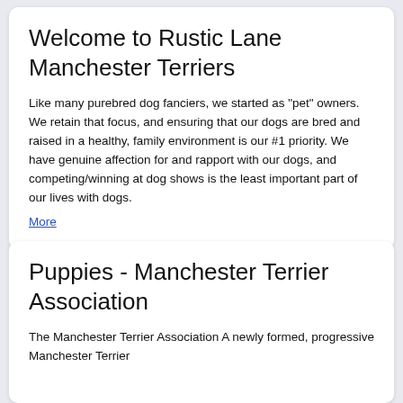Welcome to Rustic Lane Manchester Terriers
Like many purebred dog fanciers, we started as "pet" owners. We retain that focus, and ensuring that our dogs are bred and raised in a healthy, family environment is our #1 priority. We have genuine affection for and rapport with our dogs, and competing/winning at dog shows is the least important part of our lives with dogs.
More
Puppies - Manchester Terrier Association
The Manchester Terrier Association A newly formed, progressive Manchester Terrier